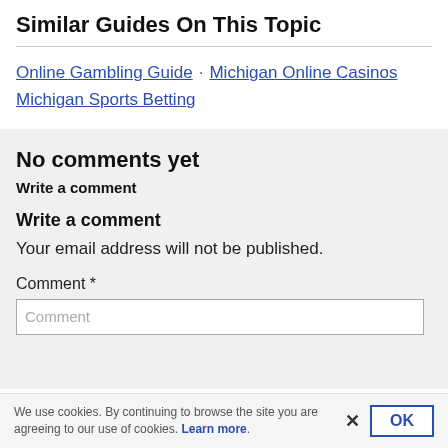Similar Guides On This Topic
Online Gambling Guide · Michigan Online Casinos Michigan Sports Betting
No comments yet
Write a comment
Write a comment
Your email address will not be published.
Comment *
Comment
We use cookies. By continuing to browse the site you are agreeing to our use of cookies. Learn more.